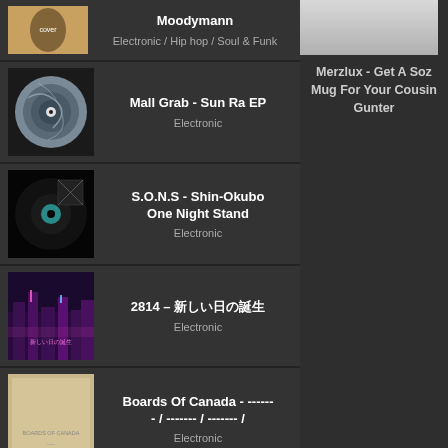Moodymann — Electronic / Hip hop / Soul & Funk
Mall Grab - Sun Ra EP — Electronic
S.O.N.S - Shin-Okubo One Night Stand — Electronic
2814 - 新しい日の誕生 — Electronic
Boards Of Canada - ------ - / ------- / ------- / — Electronic
Sleep - Live At Third Man Records
[Figure (photo): Album artwork thumbnail for Moodymann]
[Figure (photo): Album artwork thumbnail for Mall Grab - Sun Ra EP (grey marbled vinyl disc)]
[Figure (photo): Album artwork thumbnail for S.O.N.S - Shin-Okubo One Night Stand (black vinyl with teal label)]
[Figure (photo): Album artwork thumbnail for 2814 (purple neon city scene)]
[Figure (photo): Album artwork thumbnail for Boards Of Canada (tan/beige minimal cover)]
[Figure (photo): Album artwork thumbnail for Sleep - Live At Third Man Records (green/blue)]
[Figure (photo): Merzlux advertisement image]
Merzlux - Get A Soz Mug For Your Cousin Gunter